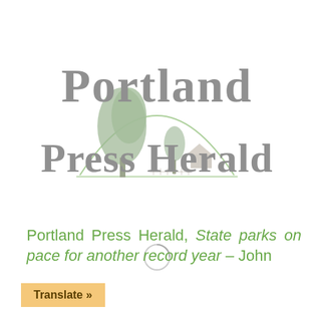[Figure (logo): Portland Press Herald newspaper logo with blackletter gothic text 'Portland' and 'Press Herald' in gray, with a green scenic illustration (tree, barn, landscape, arch) behind the text]
Portland Press Herald, State parks on pace for another record year – John